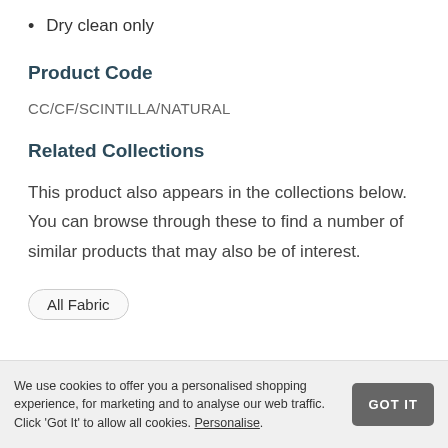Dry clean only
Product Code
CC/CF/SCINTILLA/NATURAL
Related Collections
This product also appears in the collections below. You can browse through these to find a number of similar products that may also be of interest.
All Fabric
We use cookies to offer you a personalised shopping experience, for marketing and to analyse our web traffic. Click 'Got It' to allow all cookies. Personalise. GOT IT